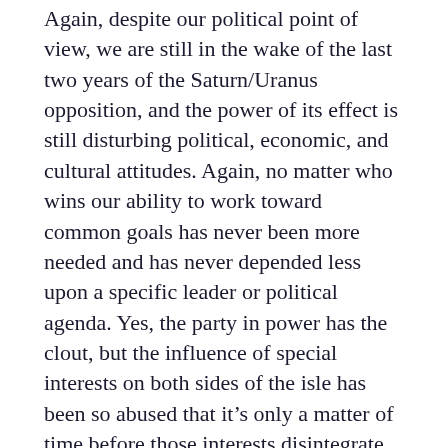Again, despite our political point of view, we are still in the wake of the last two years of the Saturn/Uranus opposition, and the power of its effect is still disturbing political, economic, and cultural attitudes. Again, no matter who wins our ability to work toward common goals has never been more needed and has never depended less upon a specific leader or political agenda. Yes, the party in power has the clout, but the influence of special interests on both sides of the isle has been so abused that it's only a matter of time before those interests disintegrate under the weight of their own mendacious intent. The people will always have the power to bring change, and advanced Pollyannaism aside, it's only a matter of time until we learn to use it for our common good.
And speaking of Pollyanna, there is good planetary news to report this week. Mercury trines the